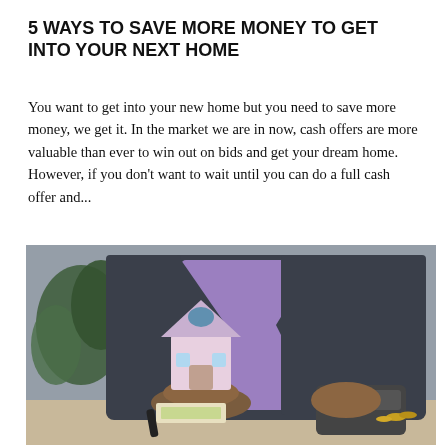5 WAYS TO SAVE MORE MONEY TO GET INTO YOUR NEXT HOME
You want to get into your new home but you need to save more money, we get it. In the market we are in now, cash offers are more valuable than ever to win out on bids and get your dream home. However, if you don't want to wait until you can do a full cash offer and...
[Figure (photo): A person in a dark suit and purple shirt holds a small decorative model house in one hand while using a calculator with the other hand. A pen and paper money are visible on the table. A plant is in the background.]